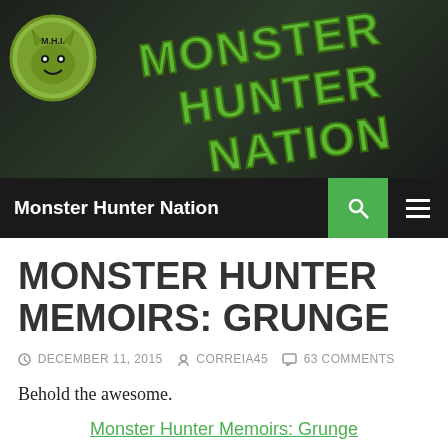[Figure (illustration): Monster Hunter Nation website banner with dark background, green MHI logo on left, and 'Monster Hunter Nation' text in large green stylized letters]
Monster Hunter Nation
MONSTER HUNTER MEMOIRS: GRUNGE
DECEMBER 11, 2015  CORREIA45  63 COMMENTS
Behold the awesome.
Monster Hunter Memoirs: Grunge
[Figure (photo): Book cover of Monster Hunter Memoirs: Grunge showing the title text in orange and gold lettering on a dark background]